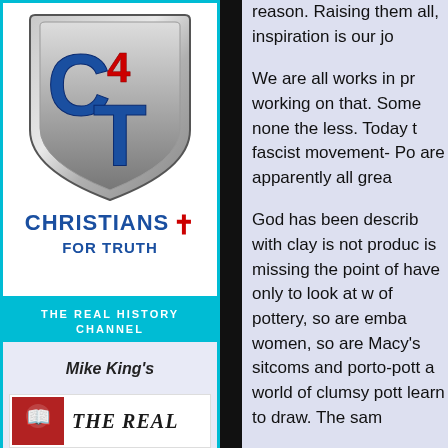[Figure (logo): Christians for Truth shield logo with C4T lettering in blue and red on metallic shield background]
CHRISTIANS FOR TRUTH +
THE REAL HISTORY CHANNEL
Mike King's
[Figure (logo): THE REAL book banner with red graphic and italic text]
reason. Raising them all, inspiration is our jo
We are all works in pr working on that. Some none the less. Today t fascist movement- Po are apparently all grea
God has been describ with clay is not produc is missing the point of have only to look at w of pottery, so are emba women, so are Macy's sitcoms and porto-pott a world of clumsy pott learn to draw. The sam